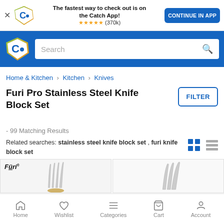[Figure (screenshot): App download banner with Catch logo, star rating (370k reviews), and 'CONTINUE IN APP' button]
[Figure (screenshot): Catch.com.au navigation bar with logo and search bar]
Home & Kitchen > Kitchen > Knives
Furi Pro Stainless Steel Knife Block Set
- 99 Matching Results
Related searches: stainless steel knife block set , furi knife block set
[Figure (photo): Product images of Furi stainless steel knife block sets in a 2-column grid]
Home   Wishlist   Categories   Cart   Account